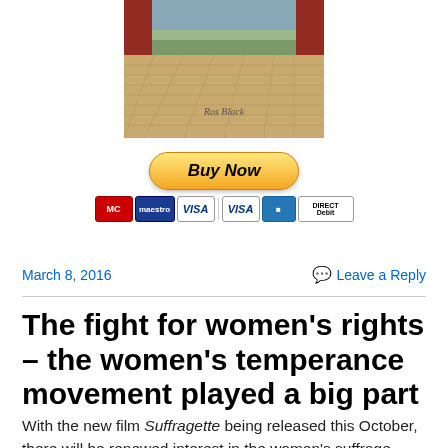[Figure (photo): Book cover image showing a stage with red curtains and a wooden floor, with text 'Ros Black' visible]
[Figure (other): PayPal Buy Now button with payment method icons: MasterCard, Maestro, VISA, VISA, American Express, Direct Debit]
March 8, 2016
Leave a Reply
The fight for women's rights – the women's temperance movement played a big part
With the new film Suffragette being released this October, there will be renewed interest in the women's suffrage